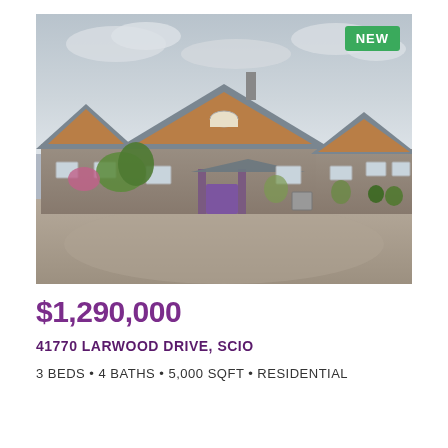[Figure (photo): Exterior photo of a large craftsman-style residential home with gray roofing, orange/tan accents, purple front entry columns, surrounded by gravel driveway and landscaping. A 'NEW' badge in green is shown in the top-right corner of the photo.]
$1,290,000
41770 LARWOOD DRIVE, SCIO
3 BEDS • 4 BATHS • 5,000 SQFT • RESIDENTIAL